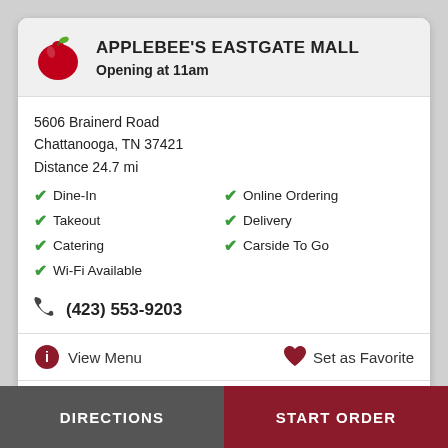APPLEBEE'S EASTGATE MALL
Opening at 11am
5606 Brainerd Road
Chattanooga, TN 37421
Distance 24.7 mi
Dine-In
Online Ordering
Takeout
Delivery
Catering
Carside To Go
Wi-Fi Available
(423) 553-9203
View Menu
Set as Favorite
DIRECTIONS
START ORDER
DIRECTIONS   START ORDER